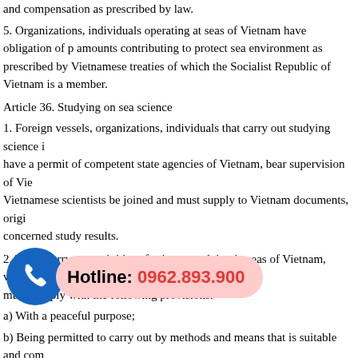and compensation as prescribed by law.
5. Organizations, individuals operating at seas of Vietnam have obligation of paying amounts contributing to protect sea environment as prescribed by Vietnamese treaties of which the Socialist Republic of Vietnam is a member.
Article 36. Studying on sea science
1. Foreign vessels, organizations, individuals that carry out studying science in seas of Vietnam have a permit of competent state agencies of Vietnam, bear supervision of Vietnam, let Vietnamese scientists be joined and must supply to Vietnam documents, original samples and concerned study results.
2. When carry out activities of science studying in seas of Vietnam, vessels, organizations must comply with the following provisions:
a) With a peaceful purpose;
b) Being permitted to carry out by methods and means that is suitable and complies with Vietnamese law and relevant international law;
c) Do not cause obstacles for legal operation at sea as prescribed by Vietnamese law and international law;
d) The Vietnam state is entitled to participate in activities of foreign science studying and entitled to share documents, original samples, use and exploit scientific results of such study and exploration.